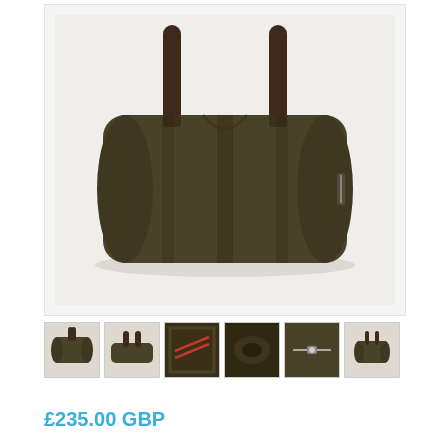[Figure (photo): Large olive/khaki green canvas duffle bag with dark brown handles, shown from the front on a light grey background.]
[Figure (photo): Thumbnail 1: Front view of olive green duffle bag with handles up.]
[Figure (photo): Thumbnail 2: Side/angled view of olive green duffle bag collapsed flat.]
[Figure (photo): Thumbnail 3: Close-up of orange interior lining/stitching detail of the bag.]
[Figure (photo): Thumbnail 4: Close-up of interior compartment/zipper of the bag.]
[Figure (photo): Thumbnail 5: Close-up of the side zipper on the olive green bag.]
[Figure (photo): Thumbnail 6: Side view of olive green bag with handles.]
£235.00 GBP